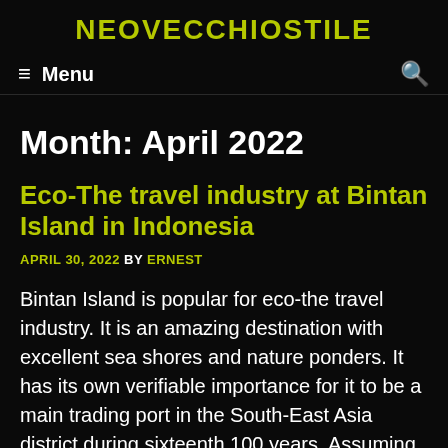NEOVECCHIOSTILE
≡ Menu
Month: April 2022
Eco-The travel industry at Bintan Island in Indonesia
APRIL 30, 2022 BY ERNEST
Bintan Island is popular for eco-the travel industry. It is an amazing destination with excellent sea shores and nature ponders. It has its own verifiable importance for it to be a main trading port in the South-East Asia district during sixteenth 100 years. Assuming you take your